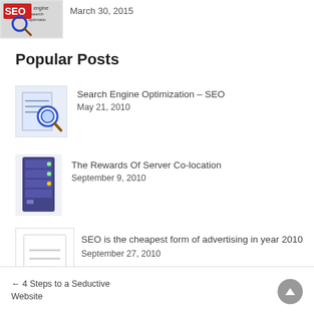[Figure (photo): Thumbnail image with SEO/search engine optimization text and magnifying glass graphic]
March 30, 2015
Popular Posts
[Figure (illustration): Magnifying glass over document icon representing Search Engine Optimization]
Search Engine Optimization – SEO
May 21, 2010
[Figure (illustration): Dark blue server rack tower icon]
The Rewards Of Server Co-location
September 9, 2010
[Figure (illustration): Document/page icon with text lines]
SEO is the cheapest form of advertising in year 2010
September 27, 2010
← 4 Steps to a Seductive Website